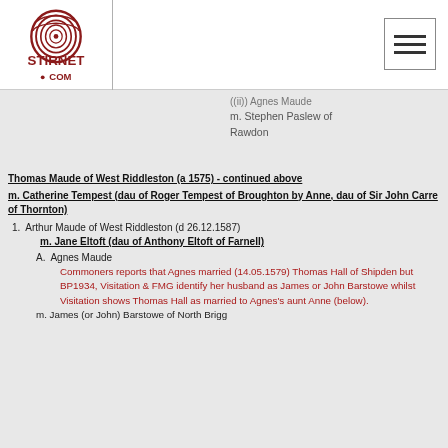[Figure (logo): Stirnet.com logo with fingerprint graphic in dark red]
((ii)) Agnes Maude m. Stephen Paslew of Rawdon
Thomas Maude of West Riddleston (a 1575) - continued above
m. Catherine Tempest (dau of Roger Tempest of Broughton by Anne, dau of Sir John Carre of Thornton)
1. Arthur Maude of West Riddleston (d 26.12.1587) m. Jane Eltoft (dau of Anthony Eltoft of Farnell)
A. Agnes Maude
Commoners reports that Agnes married (14.05.1579) Thomas Hall of Shipden but BP1934, Visitation & FMG identify her husband as James or John Barstowe whilst Visitation shows Thomas Hall as married to Agnes's aunt Anne (below).
m. James (or John) Barstowe of North Brigg